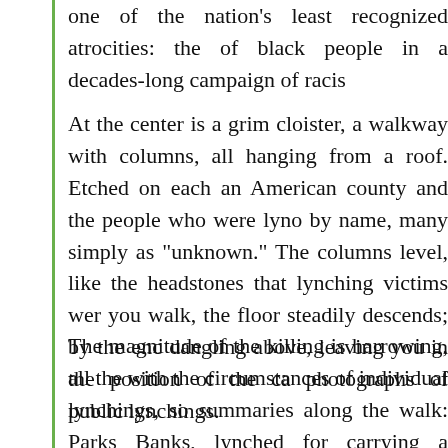one of the nation's least recognized atrocities: the of black people in a decades-long campaign of racis
At the center is a grim cloister, a walkway with columns, all hanging from a roof. Etched on each an American county and the people who were lyno by name, many simply as "unknown." The columns level, like the headstones that lynching victims wer you walk, the floor steadily descends; by the enc dangling above, leaving you in the position of the ca photographs of public lynchings.
The magnitude of the killing is harrowing, all the with the circumstances of individual lynchings, so summaries along the walk: Parks Banks, lynched for carrying a photograph of a white woman; Ca